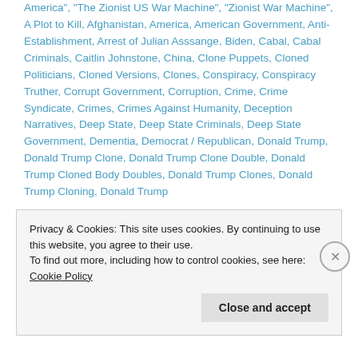America", "The Zionist US War Machine", "Zionist War Machine", A Plot to Kill, Afghanistan, America, American Government, Anti-Establishment, Arrest of Julian Asssange, Biden, Cabal, Cabal Criminals, Caitlin Johnstone, China, Clone Puppets, Cloned Politicians, Cloned Versions, Clones, Conspiracy, Conspiracy Truther, Corrupt Government, Corruption, Crime, Crime Syndicate, Crimes, Crimes Against Humanity, Deception Narratives, Deep State, Deep State Criminals, Deep State Government, Dementia, Democrat / Republican, Donald Trump, Donald Trump Clone, Donald Trump Clone Double, Donald Trump Cloned Body Doubles, Donald Trump Clones, Donald Trump Cloning, Donald Trump
Privacy & Cookies: This site uses cookies. By continuing to use this website, you agree to their use.
To find out more, including how to control cookies, see here: Cookie Policy